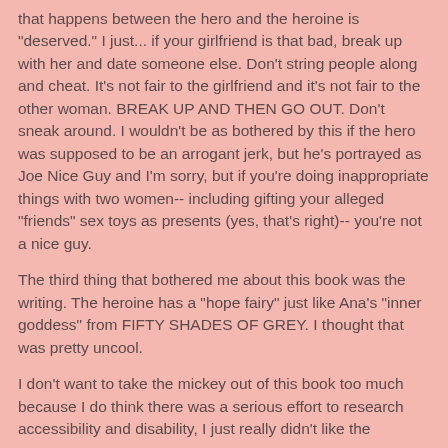that happens between the hero and the heroine is "deserved." I just... if your girlfriend is that bad, break up with her and date someone else. Don't string people along and cheat. It's not fair to the girlfriend and it's not fair to the other woman. BREAK UP AND THEN GO OUT. Don't sneak around. I wouldn't be as bothered by this if the hero was supposed to be an arrogant jerk, but he's portrayed as Joe Nice Guy and I'm sorry, but if you're doing inappropriate things with two women-- including gifting your alleged "friends" sex toys as presents (yes, that's right)-- you're not a nice guy.
The third thing that bothered me about this book was the writing. The heroine has a "hope fairy" just like Ana's "inner goddess" from FIFTY SHADES OF GREY. I thought that was pretty uncool.
I don't want to take the mickey out of this book too much because I do think there was a serious effort to research accessibility and disability, I just really didn't like the romance.
2 out of 5 stars